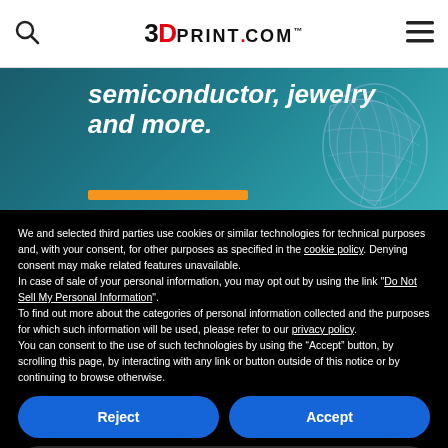3DPrint.com
[Figure (illustration): Website banner with teal background showing text 'semiconductor, jewelry and more.' in white italic bold font, with orange horizontal bar below, and a 3D printed lattice object visible on the right side]
We and selected third parties use cookies or similar technologies for technical purposes and, with your consent, for other purposes as specified in the cookie policy. Denying consent may make related features unavailable.
In case of sale of your personal information, you may opt out by using the link "Do Not Sell My Personal Information".
To find out more about the categories of personal information collected and the purposes for which such information will be used, please refer to our privacy policy.
You can consent to the use of such technologies by using the “Accept” button, by scrolling this page, by interacting with any link or button outside of this notice or by continuing to browse otherwise.
Reject
Accept
Learn more and customize